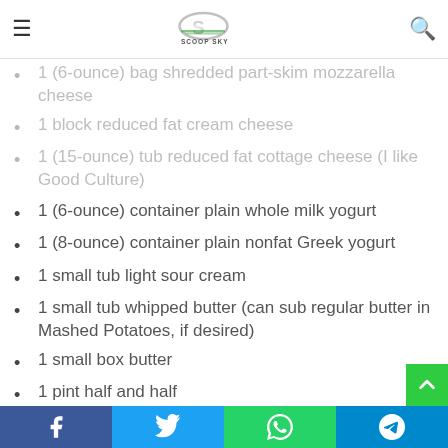Scoop Sky
1 (6-ounce) bag shredded part-skim mozzarella cheese
1 block reduced fat cream cheese
1 (15-ounce) tub reduced fat cottage cheese (I like Good Culture)
1 (6-ounce) container plain whole milk yogurt
1 (8-ounce) container plain nonfat Greek yogurt
1 small tub light sour cream
1 small tub whipped butter (can sub regular butter in Mashed Potatoes, if desired)
1 small box butter
1 pint half and half
1 pint low fat buttermilk
1 (12-ounce) container skim milk
1 (8-ounce) container 1% milk
Facebook | Twitter | WhatsApp | Telegram